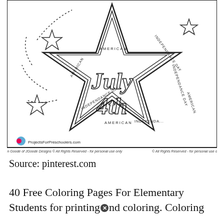[Figure (illustration): A coloring page illustration featuring a large star shape with 'July 4th' written inside it. The star has multiple outlines with text reading 'AMERICAN' and 'INDEPENDANCE DAY' along the star arms. Smaller outline stars and dotted firework bursts decorate the background. At the bottom left is a ProjectsForPreschoolers.com logo with a blue handprint. Below the image is a copyright line: 'Illustration by Jen Goode of JGoode Designs © All Rights Reserved - for personal use only']
Source: pinterest.com
40 Free Coloring Pages For Elementary Students for printing and coloring. Coloring